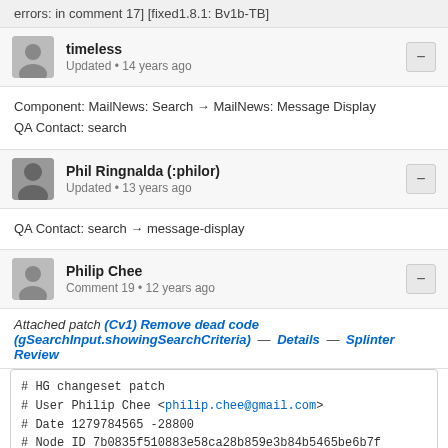errors: in comment 17] [fixed1.8.1: Bv1b-TB]
timeless
Updated • 14 years ago
Component: MailNews: Search → MailNews: Message Display
QA Contact: search
Phil Ringnalda (:philor)
Updated • 13 years ago
QA Contact: search → message-display
Philip Chee
Comment 19 • 12 years ago
Attached patch (Cv1) Remove dead code (gSearchInput.showingSearchCriteria) — Details — Splinter Review
# HG changeset patch
# User Philip Chee <philip.chee@gmail.com>
# Date 1279784565 -28800
# Node ID 7b0835f510883e58ca28b859e3b84b5465be6b7f
# Parent  3061bbc82e7de98db55e270629d450a6f9bd8597